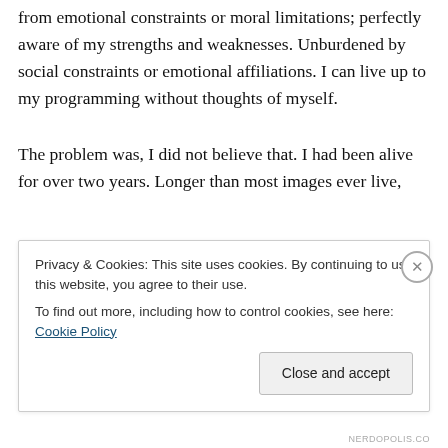from emotional constraints or moral limitations; perfectly aware of my strengths and weaknesses. Unburdened by social constraints or emotional affiliations. I can live up to my programming without thoughts of myself.
The problem was, I did not believe that. I had been alive for over two years. Longer than most images ever live, and I would be lying if I said I did not like it. We are normally scrubbed after a mission to prevent exactly the
Privacy & Cookies: This site uses cookies. By continuing to use this website, you agree to their use.
To find out more, including how to control cookies, see here: Cookie Policy
Close and accept
NERDOPOLIS.CO